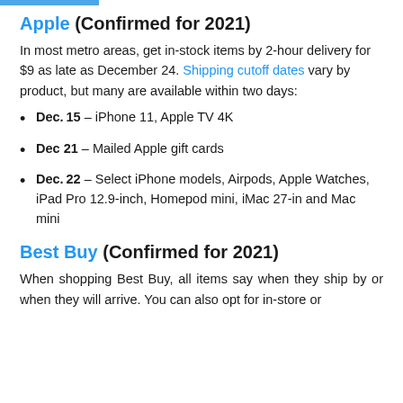Apple (Confirmed for 2021)
In most metro areas, get in-stock items by 2-hour delivery for $9 as late as December 24. Shipping cutoff dates vary by product, but many are available within two days:
Dec. 15 – iPhone 11, Apple TV 4K
Dec 21 – Mailed Apple gift cards
Dec. 22 – Select iPhone models, Airpods, Apple Watches, iPad Pro 12.9-inch, Homepod mini, iMac 27-in and Mac mini
Best Buy (Confirmed for 2021)
When shopping Best Buy, all items say when they ship by or when they will arrive. You can also opt for in-store or